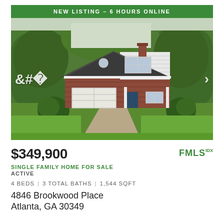[Figure (photo): Exterior photo of a two-story brick and siding single family home with attached two-car garage, concrete driveway, green lawn, and trees in the background. A green banner at the top reads NEW LISTING - 6 HOURS ONLINE. Left and right navigation arrows are visible on the photo.]
$349,900
SINGLE FAMILY HOME FOR SALE
ACTIVE
4 BEDS | 3 TOTAL BATHS | 1,544 SQFT
4846 Brookwood Place
Atlanta, GA 30349